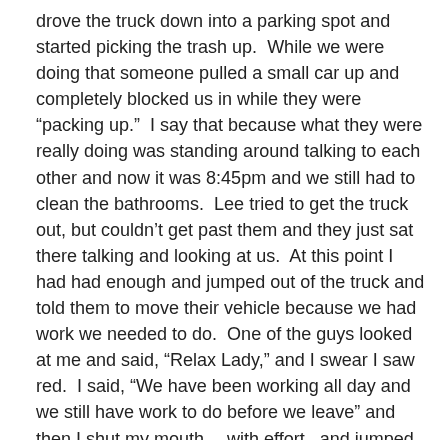drove the truck down into a parking spot and started picking the trash up.  While we were doing that someone pulled a small car up and completely blocked us in while they were “packing up.”  I say that because what they were really doing was standing around talking to each other and now it was 8:45pm and we still had to clean the bathrooms.  Lee tried to get the truck out, but couldn’t get past them and they just sat there talking and looking at us.  At this point I had had enough and jumped out of the truck and told them to move their vehicle because we had work we needed to do.  One of the guys looked at me and said, “Relax Lady,” and I swear I saw red.  I said, “We have been working all day and we still have work to do before we leave” and then I shut my mouth… with effort,  and jumped into the truck.  They finally moved and I was fuming as we went up to clean the restroom.